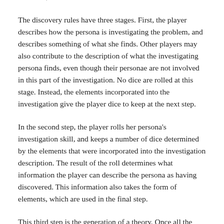revisions, but I have to start somewhere.
The discovery rules have three stages. First, the player describes how the persona is investigating the problem, and describes something of what she finds. Other players may also contribute to the description of what the investigating persona finds, even though their personae are not involved in this part of the investigation. No dice are rolled at this stage. Instead, the elements incorporated into the investigation give the player dice to keep at the next step.
In the second step, the player rolls her persona's investigation skill, and keeps a number of dice determined by the elements that were incorporated into the investigation description. The result of the roll determines what information the player can describe the persona as having discovered. This information also takes the form of elements, which are used in the final step.
This third step is the generation of a theory. Once all the personae who want to have gathered information, and shared it with each other, each persona can try to create a theory. The number of dice to keep is determined in the previous stage, while the number of dice rolled is the relevant knowledge. This theory is